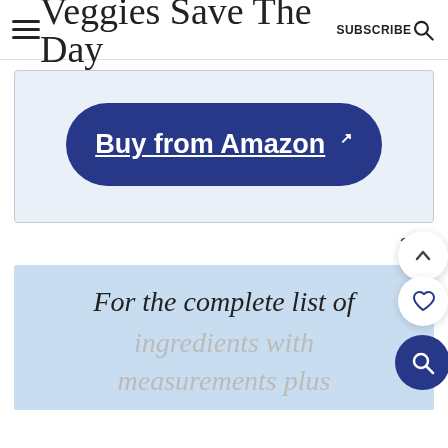Veggies Save The Day — SUBSCRIBE
[Figure (screenshot): A large dark navy blue pill-shaped button with white bold underlined text reading 'Buy from Amazon' with an external link icon, on a light blue-grey card background]
291
For the complete list of ingredients with measurements plus